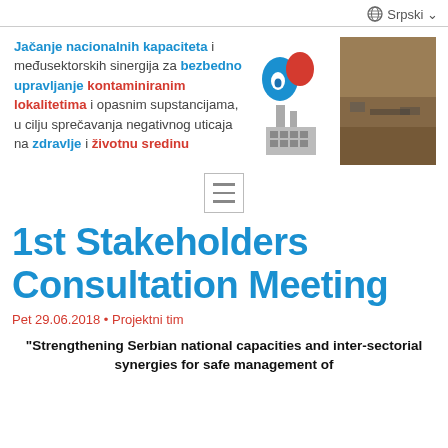Srpski
Jačanje nacionalnih kapaciteta i međusektorskih sinergija za bezbedno upravljanje kontaminiranim lokalitetima i opasnim supstancijama, u cilju sprečavanja negativnog uticaja na zdravlje i životnu sredinu
[Figure (logo): Logo with blue and red water drops above a grey factory/industrial building icon]
[Figure (photo): Aerial or landscape photo of an industrial/mining site (brownish terrain)]
[Figure (other): Hamburger menu icon (three horizontal lines inside a square border)]
1st Stakeholders Consultation Meeting
Pet 29.06.2018 • Projektni tim
"Strengthening Serbian national capacities and inter-sectorial synergies for safe management of